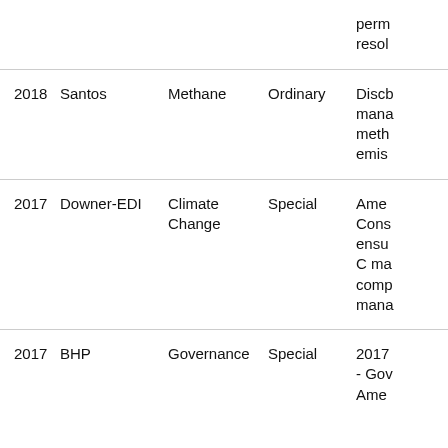| Year | Company | Topic | Meeting Type | Description |
| --- | --- | --- | --- | --- |
|  |  |  |  | perm...
resol... |
| 2018 | Santos | Methane | Ordinary | Discb...
mana...
meth...
emis... |
| 2017 | Downer-EDI | Climate Change | Special | Ame...
Cons...
ensu...
C ma...
comp...
mana... |
| 2017 | BHP | Governance | Special | 2017...
- Gov...
Ame... |